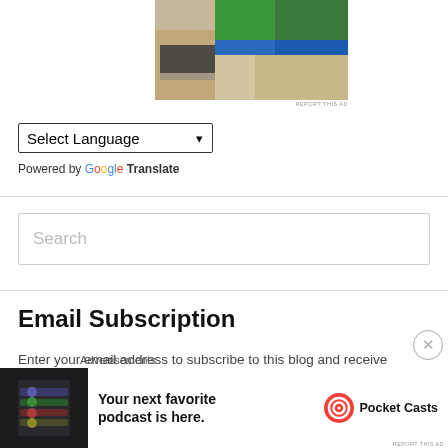[Figure (photo): Partial view of a person wearing a green top and blue belt/sash with khaki shorts, standing near a desk with a laptop]
REPORT THIS AD
Select Language
Powered by Google Translate
Search
Email Subscription
Enter your email address to subscribe to this blog and receive
Advertisements
[Figure (screenshot): Pocket Casts advertisement banner: dark left panel with app mockup, bold text 'Your next favorite podcast is here.' and Pocket Casts logo]
REPORT THIS AD